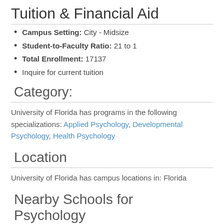Tuition & Financial Aid
Campus Setting: City - Midsize
Student-to-Faculty Ratio: 21 to 1
Total Enrollment: 17137
Inquire for current tuition
Category:
University of Florida has programs in the following specializations: Applied Psychology, Developmental Psychology, Health Psychology
Location
University of Florida has campus locations in: Florida
Nearby Schools for Psychology